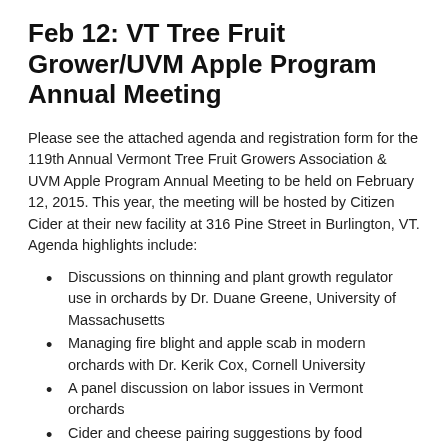Feb 12: VT Tree Fruit Grower/UVM Apple Program Annual Meeting
Please see the attached agenda and registration form for the 119th Annual Vermont Tree Fruit Growers Association & UVM Apple Program Annual Meeting to be held on February 12, 2015. This year, the meeting will be hosted by Citizen Cider at their new facility at 316 Pine Street in Burlington, VT. Agenda highlights include:
Discussions on thinning and plant growth regulator use in orchards by Dr. Duane Greene, University of Massachusetts
Managing fire blight and apple scab in modern orchards with Dr. Kerik Cox, Cornell University
A panel discussion on labor issues in Vermont orchards
Cider and cheese pairing suggestions by food consultant and sensory scientist Dr. Montserrat Almena-Aliste
An optional post-meeting tour of Citizen Cider's production facilities
Reduced-rate early registration deadline is February 1, 2015